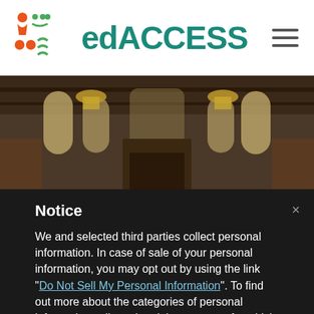[Figure (logo): edACCESS logo with colorful geometric icons and teal text]
[Figure (photo): A large ornate hall with Gothic arched windows, chandeliers, and people seated at round tables for a conference or workshop]
Notice
We and selected third parties collect personal information. In case of sale of your personal information, you may opt out by using the link "Do Not Sell My Personal Information". To find out more about the categories of personal information collected and the purposes for which such information will be used, please refer to our privacy policy.